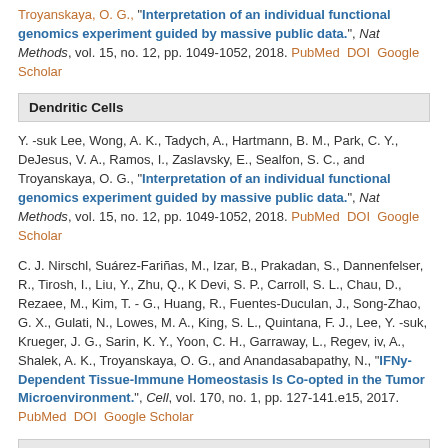Troyanskaya, O. G., "Interpretation of an individual functional genomics experiment guided by massive public data.", Nat Methods, vol. 15, no. 12, pp. 1049-1052, 2018. PubMed DOI Google Scholar
Dendritic Cells
Y. -suk Lee, Wong, A. K., Tadych, A., Hartmann, B. M., Park, C. Y., DeJesus, V. A., Ramos, I., Zaslavsky, E., Sealfon, S. C., and Troyanskaya, O. G., "Interpretation of an individual functional genomics experiment guided by massive public data.", Nat Methods, vol. 15, no. 12, pp. 1049-1052, 2018. PubMed DOI Google Scholar
C. J. Nirschl, Suárez-Fariñas, M., Izar, B., Prakadan, S., Dannenfelser, R., Tirosh, I., Liu, Y., Zhu, Q., K Devi, S. P., Carroll, S. L., Chau, D., Rezaee, M., Kim, T. - G., Huang, R., Fuentes-Duculan, J., Song-Zhao, G. X., Gulati, N., Lowes, M. A., King, S. L., Quintana, F. J., Lee, Y. -suk, Krueger, J. G., Sarin, K. Y., Yoon, C. H., Garraway, L., Regev, iv, A., Shalek, A. K., Troyanskaya, O. G., and Anandasabapathy, N., "IFNy-Dependent Tissue-Immune Homeostasis Is Co-opted in the Tumor Microenvironment.", Cell, vol. 170, no. 1, pp. 127-141.e15, 2017. PubMed DOI Google Scholar
Gene Expression Profiling
W. Ju, Greene, C. S., Eichinger, F., Nair, V., Hodgin, J. B., Bitzer, M., Lee, ...